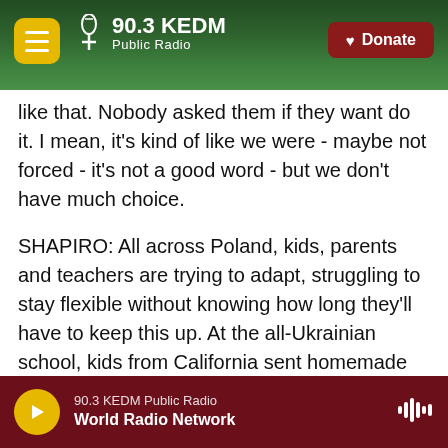[Figure (screenshot): 90.3 KEDM Public Radio website header with logo, hamburger menu, and Donate button over a forest background]
like that. Nobody asked them if they want do it. I mean, it's kind of like we were - maybe not forced - it's not a good word - but we don't have much choice.
SHAPIRO: All across Poland, kids, parents and teachers are trying to adapt, struggling to stay flexible without knowing how long they'll have to keep this up. At the all-Ukrainian school, kids from California sent homemade cards to the refugee students. They hang on a string, and kids open them to see what's inside. There are rainbows, hearts, and one with a Ukrainian flag on the front
90.3 KEDM Public Radio
World Radio Network